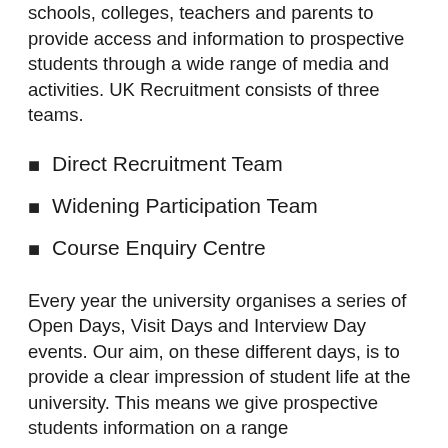schools, colleges, teachers and parents to provide access and information to prospective students through a wide range of media and activities. UK Recruitment consists of three teams.
Direct Recruitment Team
Widening Participation Team
Course Enquiry Centre
Every year the university organises a series of Open Days, Visit Days and Interview Day events. Our aim, on these different days, is to provide a clear impression of student life at the university. This means we give prospective students information on a range